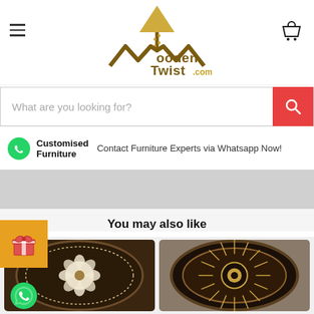[Figure (logo): WoodenTwist.com logo with lamp and W graphic in gold/brown]
What are you looking for?
Customised Furniture  Contact Furniture Experts via Whatsapp Now!
You may also like
[Figure (photo): Decorative oval dark brown wall clock with flower pattern]
[Figure (photo): Decorative oval dark wall clock with sunburst/radial pattern]